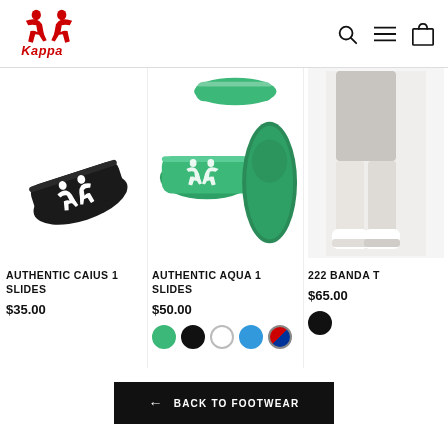[Figure (logo): Kappa brand logo - red icon with two back-to-back figures and red Kappa text]
[Figure (photo): Black Kappa slide sandal with white Kappa logo on strap, viewed from above at angle]
AUTHENTIC CAIUS 1 SLIDES
$35.00
[Figure (photo): Green Kappa slide sandals shown in multiple views: top, side, and sole, with white Kappa logo]
AUTHENTIC AQUA 1 SLIDES
$50.00
[Figure (photo): Color swatches for Authentic Aqua 1 Slides: green, black, white, blue, red/blue]
[Figure (photo): Partial view of 222 Banda T product showing person wearing shorts and shoes, cropped on right edge]
222 BANDA T
$65.00
[Figure (photo): Color swatch for 222 Banda T: black]
← BACK TO FOOTWEAR